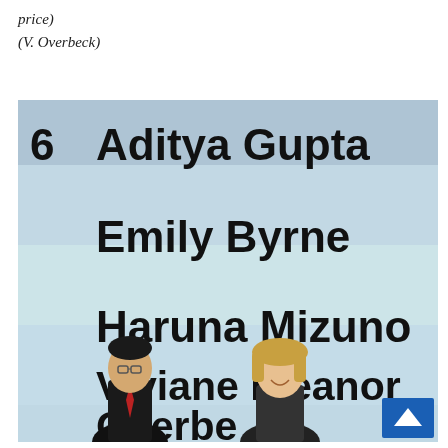price)
(V. Overbeck)
[Figure (photo): Photo of a projection screen showing names: '6  Aditya Gupta', 'Emily Byrne', 'Haruna Mizuno', 'Viviane Eleanor Overbeck', with two people standing in front of the screen. A blue arrow button visible in bottom right.]